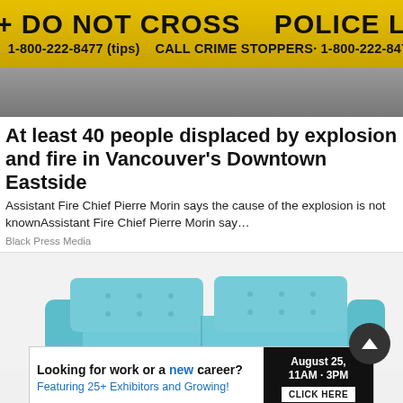[Figure (photo): Yellow police tape reading 'DO NOT CROSS POLICE LINE DO NOT CROSS 1-800-222-8477 (tips) CALL CRIME STOPPERS 1-800-222-8477' against a blurred grey background]
At least 40 people displaced by explosion and fire in Vancouver's Downtown Eastside
Assistant Fire Chief Pierre Morin says the cause of the explosion is not knownAssistant Fire Chief Pierre Morin say…
Black Press Media
[Figure (photo): A teal/light blue modern tufted sofa against a white background, with a circular dark scroll-to-top button overlay]
Looking for work or a new career? August 25, 11AM - 3PM Featuring 25+ Exhibitors and Growing! CLICK HERE